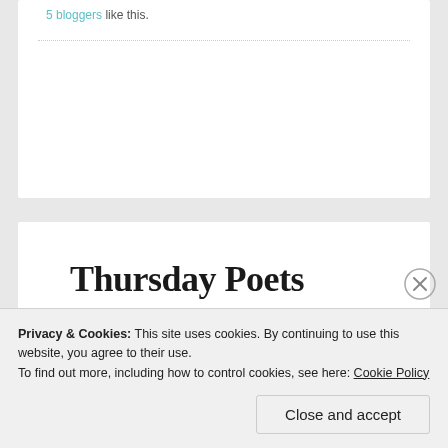5 bloggers like this.
Thursday Poets Rally: Dear Adam and Eve
SEPTEMBER 2, 2011
Privacy & Cookies: This site uses cookies. By continuing to use this website, you agree to their use.
To find out more, including how to control cookies, see here: Cookie Policy
Close and accept